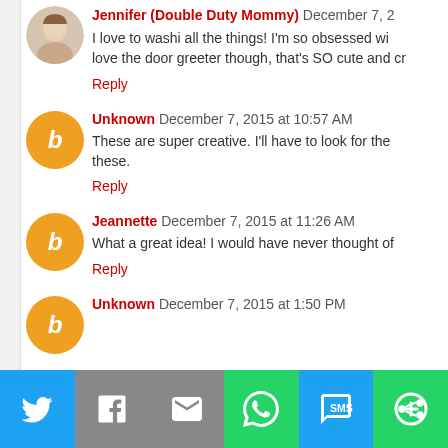Jennifer (Double Duty Mommy) December 7, 2
I love to washi all the things! I'm so obsessed wi... love the door greeter though, that's SO cute and cr...
Reply
Unknown December 7, 2015 at 10:57 AM
These are super creative. I'll have to look for the... these.
Reply
Jeannette December 7, 2015 at 11:26 AM
What a great idea! I would have never thought of
Reply
Unknown December 7, 2015 at 1:50 PM
...ea